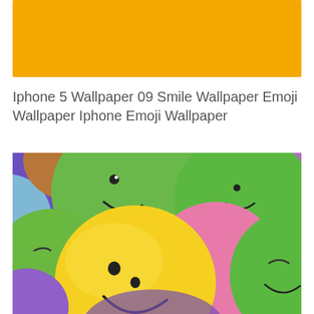[Figure (other): Yellow/golden orange rectangular banner at the top of the page]
Iphone 5 Wallpaper 09 Smile Wallpaper Emoji Wallpaper Iphone Emoji Wallpaper
[Figure (photo): A colorful collection of 3D rendered smiley face emoji balls in green, yellow, purple, pink, blue, and orange colors, piled together. The yellow ball in the foreground has a classic smiley face with two dots and a curved smile.]